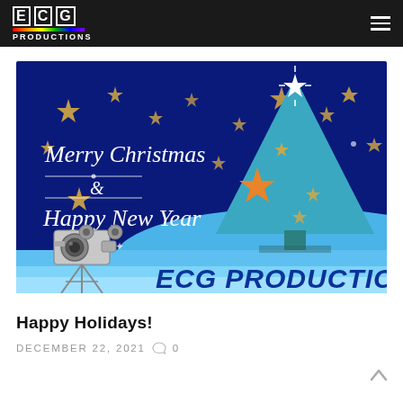ECG PRODUCTIONS — navigation header with logo and hamburger menu
[Figure (illustration): Holiday greeting card illustration with dark blue night sky background, scattered gold stars, a light blue Christmas tree with a star on top and orange star ornaments, a vintage film camera in the lower left, white cursive text 'Merry Christmas & Happy New Year' and bold blue text 'ECG PRODUCTIONS' on a lighter blue ground]
Happy Holidays!
DECEMBER 22, 2021  ○ 0